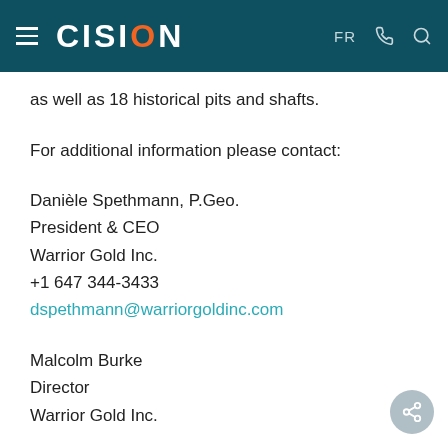CISION  FR
as well as 18 historical pits and shafts.
For additional information please contact:
Danièle Spethmann, P.Geo.
President & CEO
Warrior Gold Inc.
+1 647 344-3433
dspethmann@warriorgoldinc.com
Malcolm Burke
Director
Warrior Gold Inc.